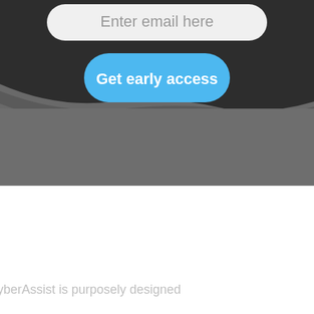[Figure (screenshot): A dark-themed UI section with a white rounded text input field showing placeholder text 'Enter email here', and a blue rounded button labeled 'Get early access', set against a dark charcoal background with a wavy gray section below.]
yberAssist is purposely designed